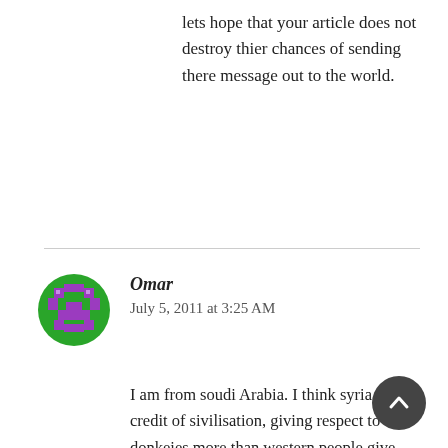lets hope that your article does not destroy thier chances of sending there message out to the world.
[Figure (illustration): Green and purple pixel-art avatar icon for user Omar]
Omar
July 5, 2011 at 3:25 AM
I am from soudi Arabia. I think syria is the credit of sivilisation, giving respect to donkeies more than western people give respect to humans. Western governments occupy nations, kill, steal, apply discrimination where they attack, Iraq and Lybia are examples for that. Civilised people help other poor countries and give aids to who need, not use the most modern weapons to kill women and children. Damn on you western contries and